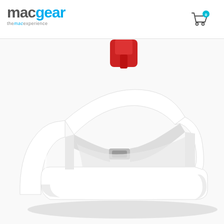macgear – the mac experience
[Figure (photo): White plastic device stand/dock with a curved arch shape and a slot in the middle, photographed on a white background. A partial view of a red device connector is visible at the top. The stand appears to be a charging dock or cable management accessory.]